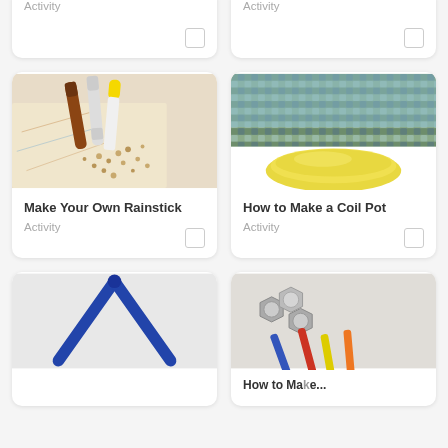[Figure (other): Partial card top left showing Activity label and checkbox]
Activity
[Figure (other): Partial card top right showing Activity label and checkbox]
Activity
[Figure (photo): Photo of markers and seeds scattered on patterned paper for Make Your Own Rainstick activity]
Make Your Own Rainstick
Activity
[Figure (photo): Photo of woven texture material and yellow clay coil for How to Make a Coil Pot activity]
How to Make a Coil Pot
Activity
[Figure (photo): Partial card bottom left showing a blue triangle instrument]
[Figure (photo): Partial card bottom right showing hex nuts and colored pencils, How to Make...]